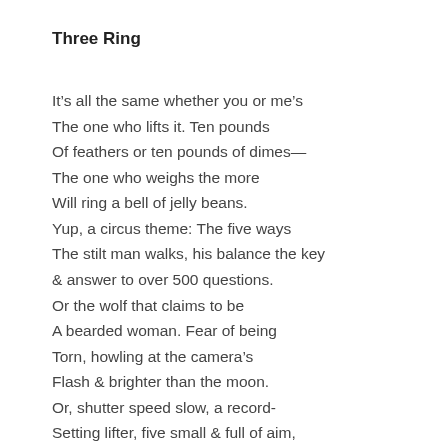Three Ring
It’s all the same whether you or me’s
The one who lifts it. Ten pounds
Of feathers or ten pounds of dimes—
The one who weighs the more
Will ring a bell of jelly beans.
Yup, a circus theme: The five ways
The stilt man walks, his balance the key
& answer to over 500 questions.
Or the wolf that claims to be
A bearded woman. Fear of being
Torn, howling at the camera’s
Flash & brighter than the moon.
Or, shutter speed slow, a record-
Setting lifter, five small & full of aim,
Cigarette-smoking paper bag:
Redeem your tickets here! Skeeball